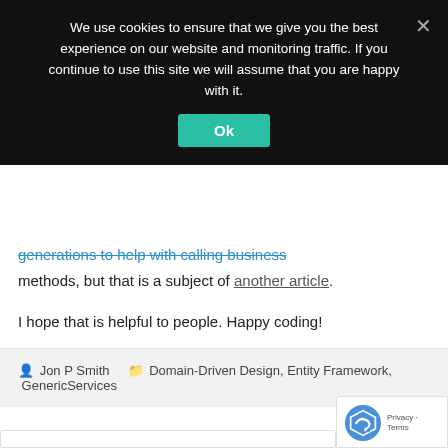We use cookies to ensure that we give you the best experience on our website and monitoring traffic. If you continue to use this site we will assume that you are happy with it.
generations to help with calling business methods, but that is a subject of another article.
I hope that is helpful to people. Happy coding!
Jon P Smith   Domain-Driven Design, Entity Framework, GenericServices